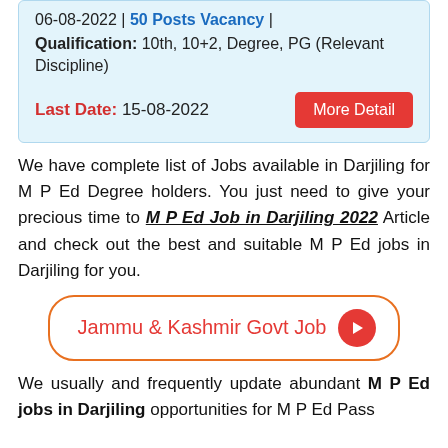06-08-2022 | 50 Posts Vacancy | Qualification: 10th, 10+2, Degree, PG (Relevant Discipline) Last Date: 15-08-2022
We have complete list of Jobs available in Darjiling for M P Ed Degree holders. You just need to give your precious time to M P Ed Job in Darjiling 2022 Article and check out the best and suitable M P Ed jobs in Darjiling for you.
Jammu & Kashmir Govt Job
We usually and frequently update abundant M P Ed jobs in Darjiling opportunities for M P Ed Pass